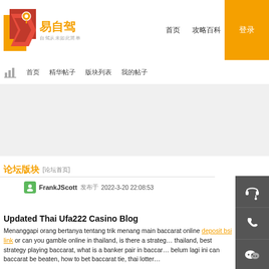[Figure (logo): 易自驾 logo with orange Y arrow icon and text '自驾从未如此简单']
易自驾 自驾从未如此简单 | 首页 | 攻略百科 | 登录
[Figure (screenshot): Website sub-navigation bar with chart icon and Chinese menu items]
[Figure (screenshot): Gray advertisement/banner area]
论坛版块 [论坛首页]
FrankJScott 发布于 2022-3-20 22:08:53
Updated Thai Ufa222 Casino Blog
Menanggapi orang bertanya tentang trik menang main baccarat online deposit bsi link or can you gamble online in thailand, is there a strategy thailand, best strategy playing baccarat, what is a banker pair in baccarat, belum lagi ini can baccarat be beaten, how to bet baccarat tie, thai lottery